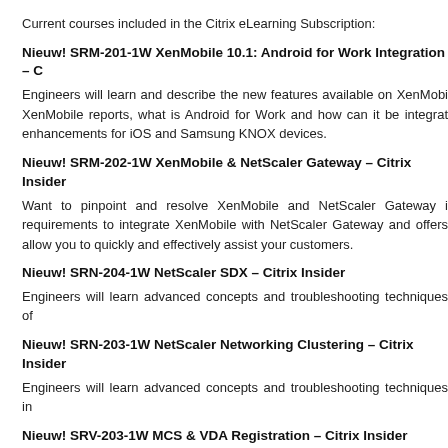Current courses included in the Citrix eLearning Subscription:
Nieuw! SRM-201-1W XenMobile 10.1: Android for Work Integration – C
Engineers will learn and describe the new features available on XenMobi XenMobile reports, what is Android for Work and how can it be integrat enhancements for iOS and Samsung KNOX devices.
Nieuw! SRM-202-1W XenMobile & NetScaler Gateway – Citrix Insider
Want to pinpoint and resolve XenMobile and NetScaler Gateway i requirements to integrate XenMobile with NetScaler Gateway and offers allow you to quickly and effectively assist your customers.
Nieuw! SRN-204-1W NetScaler SDX – Citrix Insider
Engineers will learn advanced concepts and troubleshooting techniques of
Nieuw! SRN-203-1W NetScaler Networking Clustering – Citrix Insider
Engineers will learn advanced concepts and troubleshooting techniques in
Nieuw! SRV-203-1W MCS & VDA Registration – Citrix Insider
A detailed view of the VDA registration process and the communication flo will learn how to verify and confirm that VDA registration was succes unregistered VDAs.
Nieuw! SRV-204-1W XenApp & XenDesktop 7.7 Overview – Citrix Insid